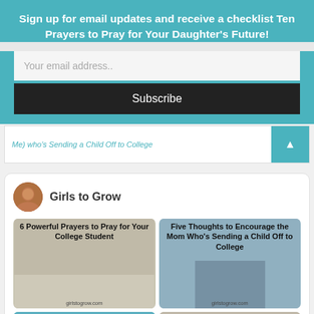Sign up for email updates and receive a checklist Ten Prayers to Pray for Your Daughter's Future!
Your email address..
Subscribe
Me) who's Sending a Child Off to College
[Figure (screenshot): Pinterest widget showing 'Girls to Grow' profile with pins including '6 Powerful Prayers to Pray for Your College Student', 'Five Thoughts to Encourage the Mom Who's Sending a Child Off to College', and '7 Promises' partial pin]
Girls to Grow
6 Powerful Prayers to Pray for Your College Student
Five Thoughts to Encourage the Mom Who's Sending a Child Off to College
7 Promises